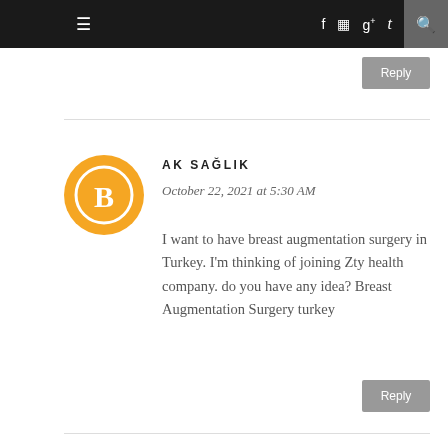≡  f  [instagram]  g+  t  [search]
Reply
[Figure (illustration): Orange circular Blogger profile avatar icon with white B symbol]
AK SAĞLIK
October 22, 2021 at 5:30 AM
I want to have breast augmentation surgery in Turkey. I'm thinking of joining Zty health company. do you have any idea? Breast Augmentation Surgery turkey
Reply